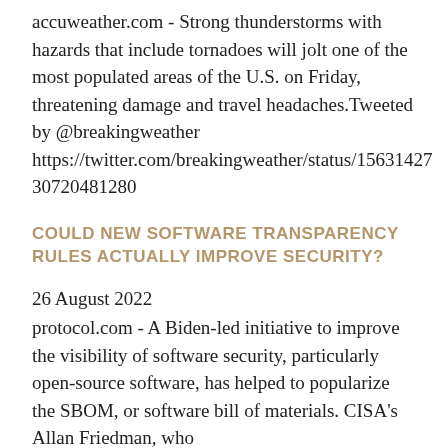accuweather.com - Strong thunderstorms with hazards that include tornadoes will jolt one of the most populated areas of the U.S. on Friday, threatening damage and travel headaches.Tweeted by @breakingweather https://twitter.com/breakingweather/status/156314273072048128​0
COULD NEW SOFTWARE TRANSPARENCY RULES ACTUALLY IMPROVE SECURITY?
26 August 2022
protocol.com - A Biden-led initiative to improve the visibility of software security, particularly open-source software, has helped to popularize the SBOM, or software bill of materials. CISA's Allan Friedman, who
Tweeted by @Gate_15_Analyst